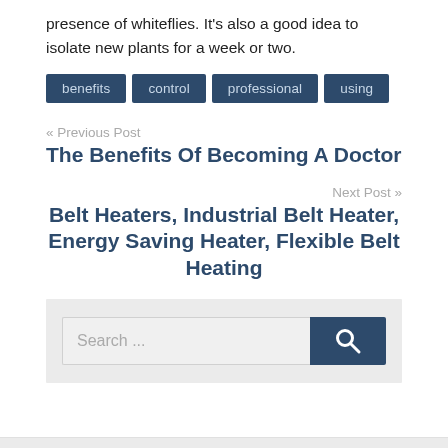presence of whiteflies. It's also a good idea to isolate new plants for a week or two.
benefits  control  professional  using
« Previous Post
The Benefits Of Becoming A Doctor
Next Post »
Belt Heaters, Industrial Belt Heater, Energy Saving Heater, Flexible Belt Heating
Search ...